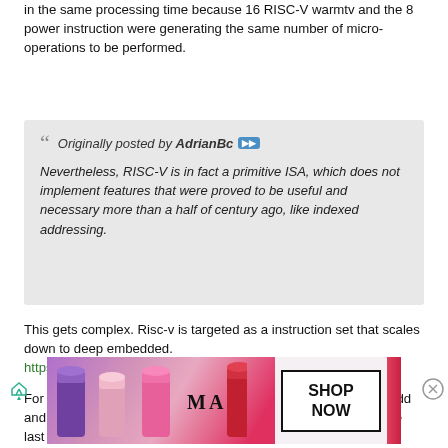in the same processing time because 16 RISC-V warmtv and the 8 power instruction were generating the same number of micro-operations to be performed.
Originally posted by AdrianBc
Nevertheless, RISC-V is in fact a primitive ISA, which does not implement features that were proved to be useful and necessary more than a half of century ago, like indexed addressing.
This gets complex. Risc-v is targeted as a instruction set that scales down to deep embedded.
https://www.osnews.com/story/132312/...cant-even-add/
For deep embedded the fact Risc-V default instruction set can add and subtract is kind of excessive. There is a lot of things over the last half of a century like index addressing that is not useful in all cases. Yes it would be good if the Risc-V had a
[Figure (photo): MAC cosmetics advertisement banner showing lipsticks and a SHOP NOW button]